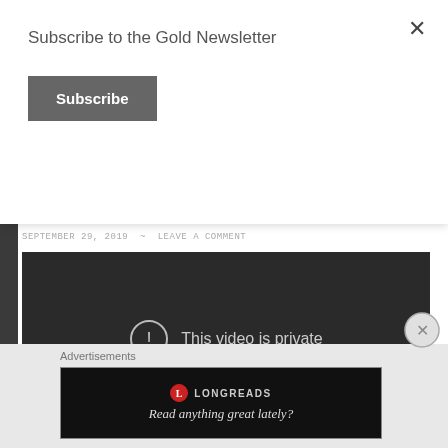Subscribe to the Gold Newsletter
Subscribe
Macdonald Cloned Rappers
SEPTEMBER 29, 2019 ~ LEAVE A COMMENT
[Figure (screenshot): YouTube video embed showing 'This video is private' message with exclamation mark icon on dark background]
Advertisements
[Figure (screenshot): Longreads advertisement banner with red circular logo, text 'LONGREADS' and tagline 'Read anything great lately?' on black background]